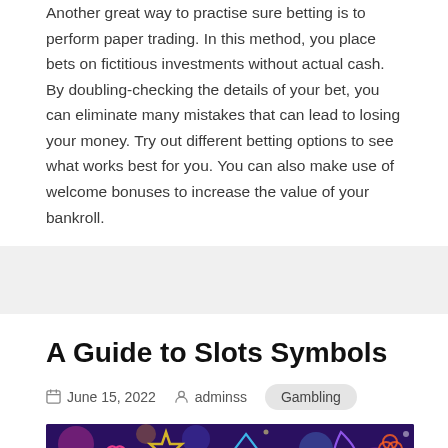Another great way to practise sure betting is to perform paper trading. In this method, you place bets on fictitious investments without actual cash. By doubling-checking the details of your bet, you can eliminate many mistakes that can lead to losing your money. Try out different betting options to see what works best for you. You can also make use of welcome bonuses to increase the value of your bankroll.
A Guide to Slots Symbols
June 15, 2022   adminss   Gambling
[Figure (photo): Colorful neon slots symbols on dark background — partial view cut off at bottom of page]